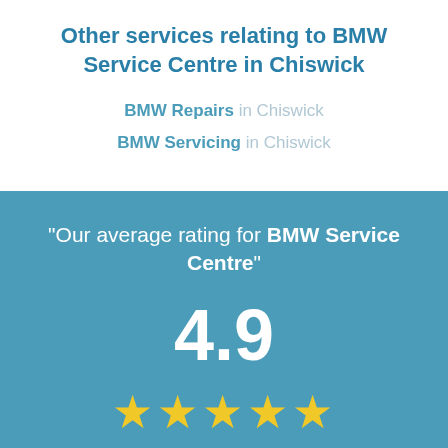Other services relating to BMW Service Centre in Chiswick
BMW Repairs in Chiswick
BMW Servicing in Chiswick
"Our average rating for BMW Service Centre"
4.9
[Figure (other): Five gold stars representing a 4.9 average rating]